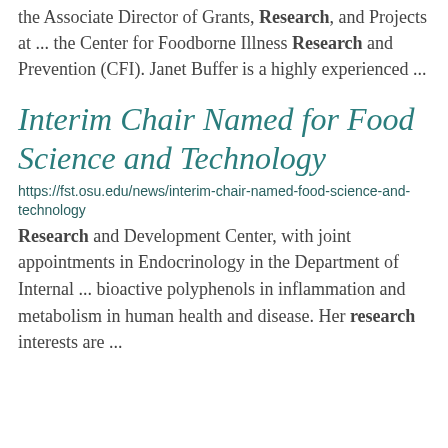the Associate Director of Grants, Research, and Projects at ... the Center for Foodborne Illness Research and Prevention (CFI). Janet Buffer is a highly experienced ...
Interim Chair Named for Food Science and Technology
https://fst.osu.edu/news/interim-chair-named-food-science-and-technology
Research and Development Center, with joint appointments in Endocrinology in the Department of Internal ... bioactive polyphenols in inflammation and metabolism in human health and disease. Her research interests are ...